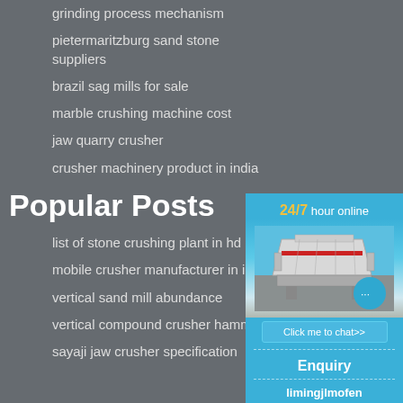grinding process mechanism
pietermaritzburg sand stone suppliers
brazil sag mills for sale
marble crushing machine cost
jaw quarry crusher
crusher machinery product in india
Popular Posts
list of stone crushing plant in hd
mobile crusher manufacturer in iran
vertical sand mill abundance
vertical compound crusher hammer
sayaji jaw crusher specification
[Figure (illustration): Blue sidebar widget showing 24/7 hour online text, a crusher machine image, a chat bubble icon with ellipsis, a Click me to chat>> button, a dashed divider, Enquiry text, another dashed divider, and limingjlmofen username text]